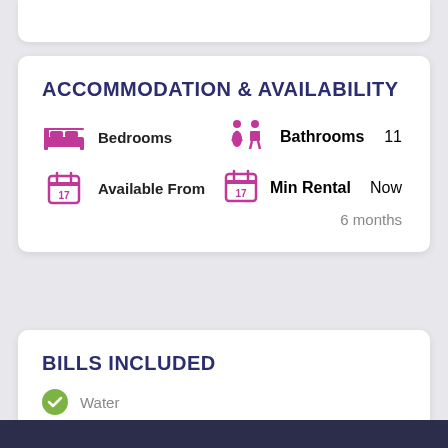ACCOMMODATION & AVAILABILITY
Bedrooms
Bathrooms 11
Available From
Min Rental Now
6 months
BILLS INCLUDED
Water
Electricity
Internet